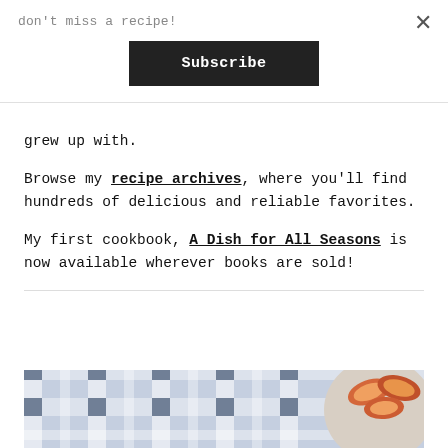don't miss a recipe!
Subscribe
grew up with.
Browse my recipe archives, where you'll find hundreds of delicious and reliable favorites.
My first cookbook, A Dish for All Seasons is now available wherever books are sold!
[Figure (photo): Blue and white plaid/gingham fabric cloth with a ceramic bowl containing sliced peaches or nectarines in the upper right corner.]